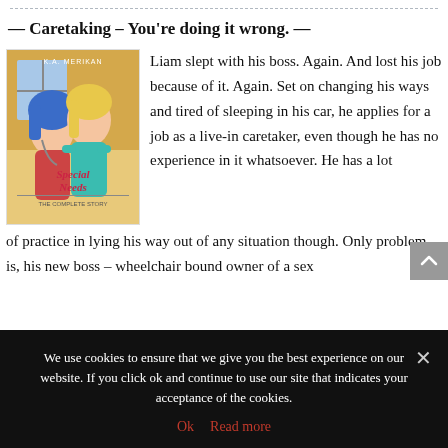— Caretaking – You're doing it wrong. —
[Figure (illustration): Book cover for 'Special Needs: The Complete Story' by K.A. Merikan, showing two illustrated characters — one with blue hair and one with blonde hair — in an embrace.]
Liam slept with his boss. Again. And lost his job because of it. Again. Set on changing his ways and tired of sleeping in his car, he applies for a job as a live-in caretaker, even though he has no experience in it whatsoever. He has a lot of practice in lying his way out of any situation though. Only problem is, his new boss – wheelchair bound owner of a sex
We use cookies to ensure that we give you the best experience on our website. If you click ok and continue to use our site that indicates your acceptance of the cookies.
Ok   Read more